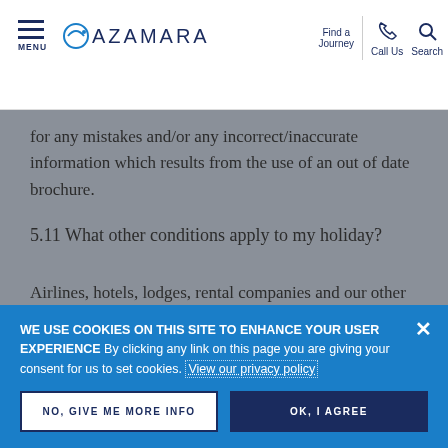MENU | AZAMARA | Find a Journey | Call Us | Search
for any mistakes and/or any incorrect/inaccurate information which results from the use of an out of date brochure.
5.11 What other conditions apply to my holiday?
Airlines, hotels, lodges, rental companies and our other suppliers have their own conditions, which will apply to your holiday, we strongly recommend that you refer to these. Some of these
WE USE COOKIES ON THIS SITE TO ENHANCE YOUR USER EXPERIENCE By clicking any link on this page you are giving your consent for us to set cookies. View our privacy policy
NO, GIVE ME MORE INFO
OK, I AGREE